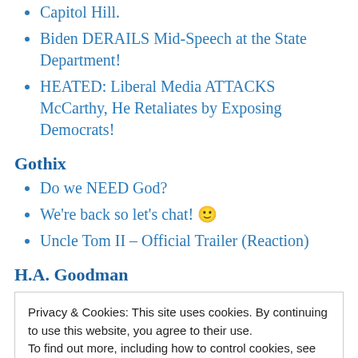Capitol Hill.
Biden DERAILS Mid-Speech at the State Department!
HEATED: Liberal Media ATTACKS McCarthy, He Retaliates by Exposing Democrats!
Gothix
Do we NEED God?
We're back so let's chat! 🙂
Uncle Tom II – Official Trailer (Reaction)
H.A. Goodman
Privacy & Cookies: This site uses cookies. By continuing to use this website, you agree to their use.
To find out more, including how to control cookies, see here:
Cookie Policy
Close and accept
Beer Locked